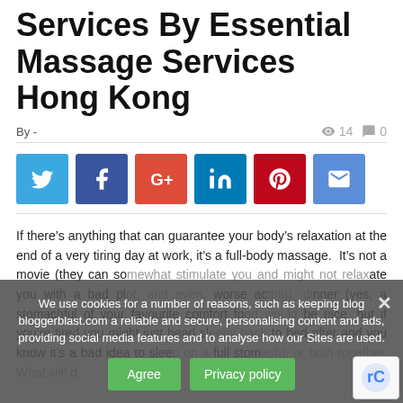Services By Essential Massage Services Hong Kong
By -   👁 14   💬 0
[Figure (infographic): Social share buttons: Twitter (blue), Facebook (dark blue), Google+ (red-orange), LinkedIn (teal-blue), Pinterest (dark red), Email (blue)]
If there's anything that can guarantee your body's relaxation at the end of a very tiring day at work, it's a full-body massage. It's not a movie (they can sometimes stimulate you and might not create te... you with a bad plot, and even worse acting), dinner (yes, a stomachful of your favourite comfort fo... be nice, but if you're tired you might just head sl... to bed after and you know it's a bad idea to slee... full stomach), or both together. What will d...
We use cookies for a number of reasons, such as keeping blog bloggerblast.com a reliable and secure, personalising content and ads, providing social media features and to analyse how our Sites are used.